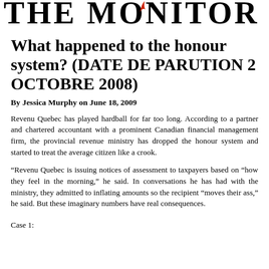THE MONITOR
What happened to the honour system? (DATE DE PARUTION 2 OCTOBRE 2008)
By Jessica Murphy on June 18, 2009
Revenu Quebec has played hardball for far too long. According to a partner and chartered accountant with a prominent Canadian financial management firm, the provincial revenue ministry has dropped the honour system and started to treat the average citizen like a crook.
“Revenu Quebec is issuing notices of assessment to taxpayers based on “how they feel in the morning,” he said. In conversations he has had with the ministry, they admitted to inflating amounts so the recipient “moves their ass,” he said. But these imaginary numbers have real consequences.
Case 1: